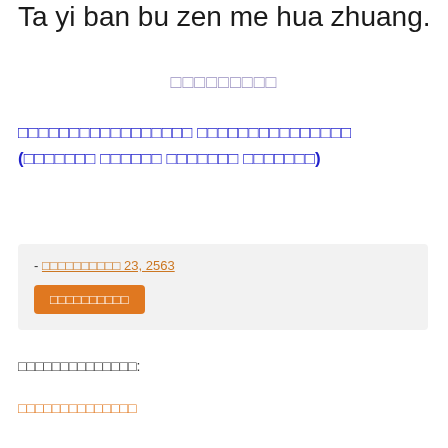Ta yi ban bu zen me hua zhuang.
□□□□□□□□□
□□□□□□□□□□□□□□□□□ □□□□□□□□□□□□□□□ (□□□□□□□ □□□□□□ □□□□□□□ □□□□□□□)
- □□□□□□□□□□ 23, 2563
□□□□□□□□□□
□□□□□□□□□□□□□□:
□□□□□□□□□□□□□□